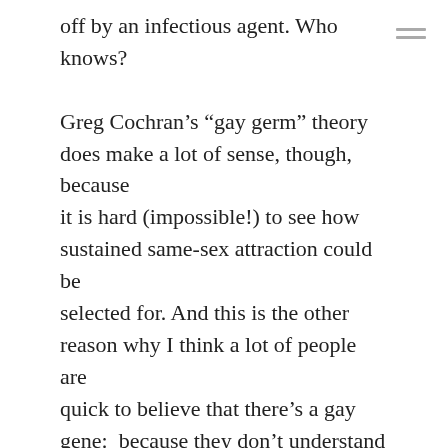off by an infectious agent. Who knows?

Greg Cochran's “gay germ” theory does make a lot of sense, though, because it is hard (impossible!) to see how sustained same-sex attraction could be selected for. And this is the other reason why I think a lot of people are quick to believe that there’s a gay gene:  because they don’t understand that evolution takes place via natural selection (plus some other processes like genetic drift, etc.).  Many people out there who believe themselves to be modern, secular individuals who naturally